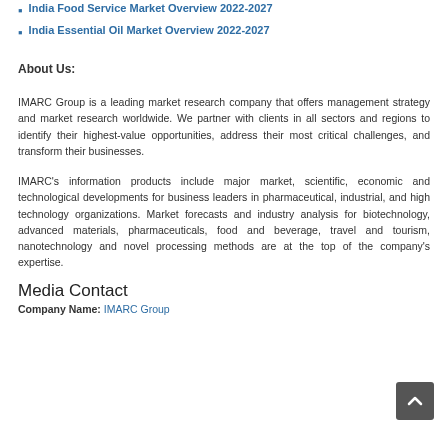India Food Service Market Overview 2022-2027
India Essential Oil Market Overview 2022-2027
About Us:
IMARC Group is a leading market research company that offers management strategy and market research worldwide. We partner with clients in all sectors and regions to identify their highest-value opportunities, address their most critical challenges, and transform their businesses.
IMARC's information products include major market, scientific, economic and technological developments for business leaders in pharmaceutical, industrial, and high technology organizations. Market forecasts and industry analysis for biotechnology, advanced materials, pharmaceuticals, food and beverage, travel and tourism, nanotechnology and novel processing methods are at the top of the company's expertise.
Media Contact
Company Name: IMARC Group